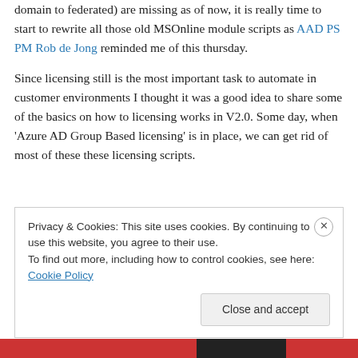domain to federated) are missing as of now, it is really time to start to rewrite all those old MSOnline module scripts as AAD PS PM Rob de Jong reminded me of this thursday.
Since licensing still is the most important task to automate in customer environments I thought it was a good idea to share some of the basics on how to licensing works in V2.0. Some day, when 'Azure AD Group Based licensing' is in place, we can get rid of most of these these licensing scripts.
Privacy & Cookies: This site uses cookies. By continuing to use this website, you agree to their use. To find out more, including how to control cookies, see here: Cookie Policy
Close and accept